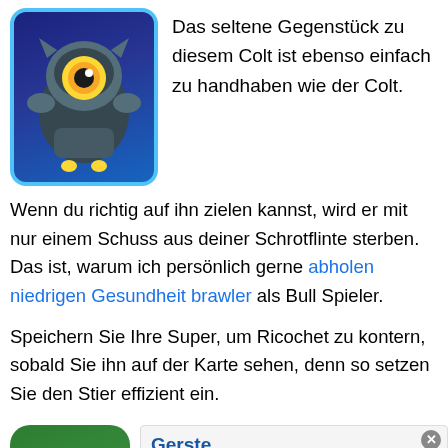[Figure (illustration): A cartoon game character with a large yellow eye and robotic/blue armor appearance, shown on a dark blue card with a light blue border]
Das seltene Gegenstück zu diesem Colt ist ebenso einfach zu handhaben wie der Colt.
Wenn du richtig auf ihn zielen kannst, wird er mit nur einem Schuss aus deiner Schrotflinte sterben. Das ist, warum ich persönlich gerne abholen niedrigen Gesundheit brawler als Bull Spieler.
Speichern Sie Ihre Super, um Ricochet zu kontern, sobald Sie ihn auf der Karte sehen, denn so setzen Sie den Stier effizient ein.
[Figure (illustration): A cartoon game character on a green card background — dark hooded figure with a large yellow eye]
Gerste
No compatible source was found for this media.
Barley ist ein etwas besserer